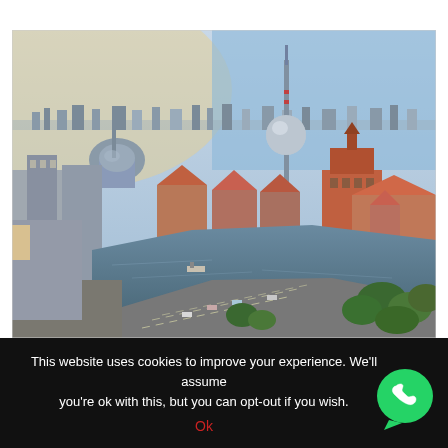[Figure (photo): Aerial panoramic photo of Berlin cityscape showing the Spree river, Mühlendamm bridge with traffic, red-roofed buildings, the Berlin TV Tower (Fernsehturm) in the center, and the Berlin Cathedral dome on the left, taken at dusk/golden hour with a blue sky.]
This website uses cookies to improve your experience. We'll assume you're ok with this, but you can opt-out if you wish.
Ok